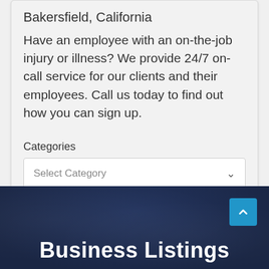Bakersfield, California
Have an employee with an on-the-job injury or illness? We provide 24/7 on-call service for our clients and their employees. Call us today to find out how you can sign up.
Categories
Select Category
Business Listings